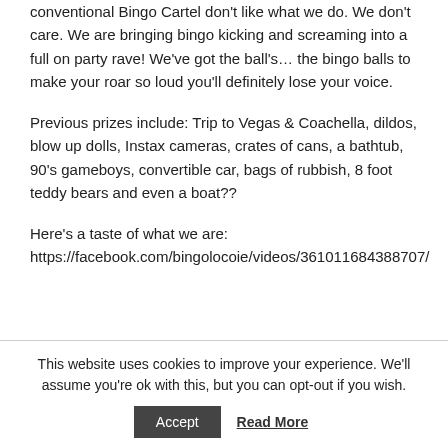conventional Bingo Cartel don't like what we do. We don't care. We are bringing bingo kicking and screaming into a full on party rave! We've got the ball's... the bingo balls to make your roar so loud you'll definitely lose your voice.
Previous prizes include: Trip to Vegas & Coachella, dildos, blow up dolls, Instax cameras, crates of cans, a bathtub, 90's gameboys, convertible car, bags of rubbish, 8 foot teddy bears and even a boat??
Here's a taste of what we are: https://facebook.com/bingolocoie/videos/361011684388707/
This website uses cookies to improve your experience. We'll assume you're ok with this, but you can opt-out if you wish.
Accept
Read More